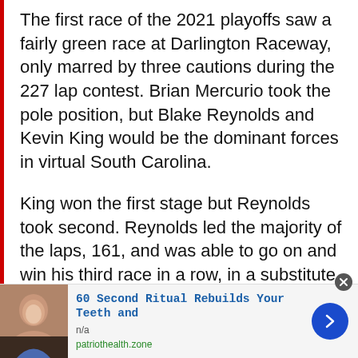The first race of the 2021 playoffs saw a fairly green race at Darlington Raceway, only marred by three cautions during the 227 lap contest. Brian Mercurio took the pole position, but Blake Reynolds and Kevin King would be the dominant forces in virtual South Carolina.
King won the first stage but Reynolds took second. Reynolds led the majority of the laps, 161, and was able to go on and win his third race in a row, in a substitute role for Jake Poulin's No. 00 JR Motorsports JR Chevrolet.
[Figure (photo): Advertisement banner with a person's photo on the left, text '60 Second Ritual Rebuilds Your Teeth and', 'n/a', 'patriothealth.zone' in the middle, and a blue circular arrow button on the right. Close button (x) in top-right corner.]